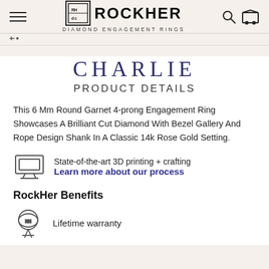ROCKHER DIAMOND ENGAGEMENT RINGS
CHARLIE
PRODUCT DETAILS
This 6 Mm Round Garnet 4-prong Engagement Ring Showcases A Brilliant Cut Diamond With Bezel Gallery And Rope Design Shank In A Classic 14k Rose Gold Setting.
State-of-the-art 3D printing + crafting
Learn more about our process
RockHer Benefits
Lifetime warranty